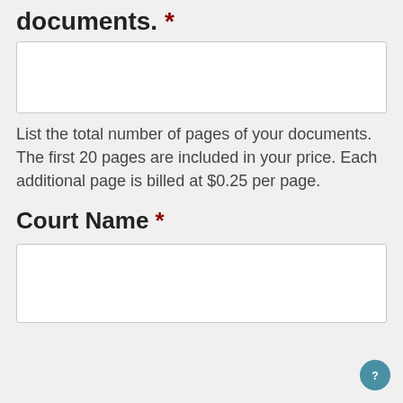documents. *
List the total number of pages of your documents. The first 20 pages are included in your price. Each additional page is billed at $0.25 per page.
Court Name *